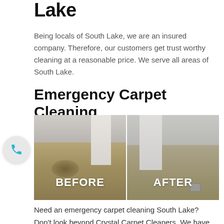Lake
Being locals of South Lake, we are an insured company. Therefore, our customers get trust worthy cleaning at a reasonable price. We serve all areas of South Lake.
Emergency Carpet Cleaning
[Figure (photo): Before and after comparison photos of carpet cleaning. Left side labeled BEFORE shows dirty/stained carpet near baseboard. Right side labeled AFTER shows clean carpet in same area.]
Need an emergency carpet cleaning South Lake? Don't look beyond Crystal Carpet Cleaners. We have just the right answer for your needs. You might need an emergency cleaning for your carpets for various reasons. For instance if you are planning a party and the carpet needs a makeover or when some guests are coming over to your place and the carpet is